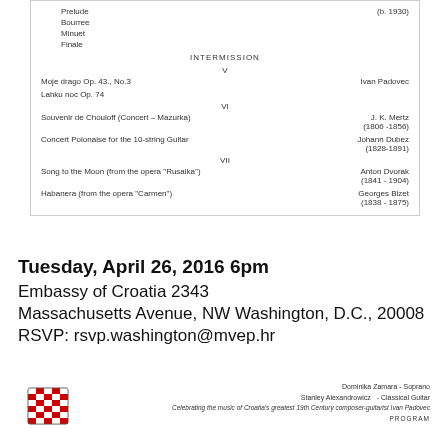Prelude
Bourree
Minuet
Finale  (b. 1930)
INTERMISSION
V
Moje drago Op. 43., No.3   Ivan Padovec
Lahku noc Op. 74
VI
Souvenir de Chouloff (Concert - Mazurka)   J. K. Mertz (1806 -1856)
Concert Polonaise for the 10-string Guitar   Johann Dubez (1828-1891)
VII
Song to the Moon (from the opera "Rusalka")   Anton Dvorak (1841 - 1904)
Habanera (from the opera "Carmen")   Georges Bizet (1838 - 1875)
Tuesday, April 26, 2016 6pm
Embassy of Croatia 2343
Massachusetts Avenue, NW Washington, D.C., 20008
RSVP: rsvp.washington@mvep.hr
Dominika Zamara - Soprano
Stanley Alexandrowicz   - Classical Guitar
Celebrating the music of Croatia's greatest 19th Century composer-guitarist Ivan Padovec
PROGRAM